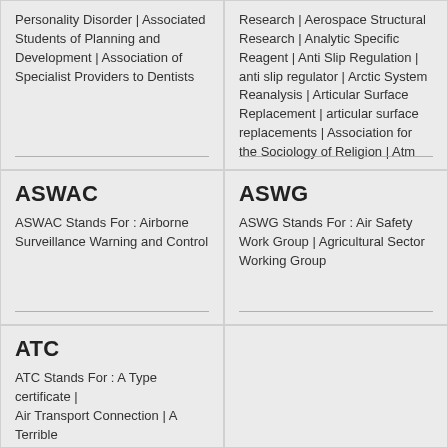Personality Disorder | Associated Students of Planning and Development | Association of Specialist Providers to Dentists
Research | Aerospace Structural Research | Analytic Specific Reagent | Anti Slip Regulation | anti slip regulator | Arctic System Reanalysis | Articular Surface Replacement | articular surface replacements | Association for the Sociology of Religion | Atm
ASWAC
ASWAC Stands For : Airborne Surveillance Warning and Control
ASWG
ASWG Stands For : Air Safety Work Group | Agricultural Sector Working Group
ATC
ATC Stands For : A Type certificate | Air Transport Connection | A Terrible...